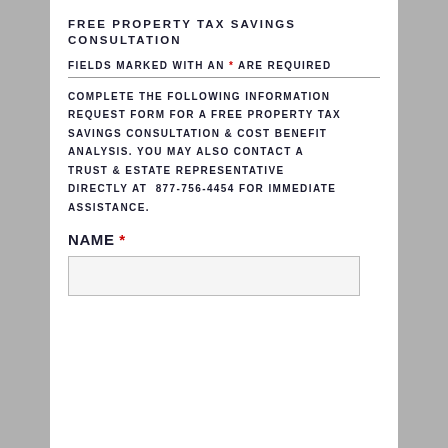FREE PROPERTY TAX SAVINGS CONSULTATION
FIELDS MARKED WITH AN * ARE REQUIRED
COMPLETE THE FOLLOWING INFORMATION REQUEST FORM FOR A FREE PROPERTY TAX SAVINGS CONSULTATION & COST BENEFIT ANALYSIS. YOU MAY ALSO CONTACT A TRUST & ESTATE REPRESENTATIVE DIRECTLY AT 877-756-4454 FOR IMMEDIATE ASSISTANCE.
NAME *